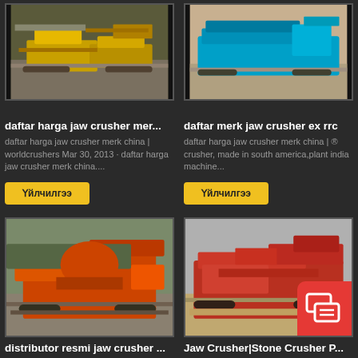[Figure (photo): Yellow jaw crusher machine at construction/mining site]
[Figure (photo): Teal/blue jaw crusher machine at outdoor site]
daftar harga jaw crusher mer...
daftar merk jaw crusher ex rrc
daftar harga jaw crusher merk china | worldcrushers Mar 30, 2013 · daftar harga jaw crusher merk china....
daftar harga jaw crusher merk china | ® crusher, made in south america,plant india machine...
Үйлчилгээ
Үйлчилгээ
[Figure (photo): Orange/red large crawler jaw crusher machine in outdoor rocky terrain]
[Figure (photo): Red stone crusher/screener machine at outdoor sand/gravel site, with red chat icon overlay]
distributor resmi jaw crusher ...
Jaw Crusher|Stone Crusher P...